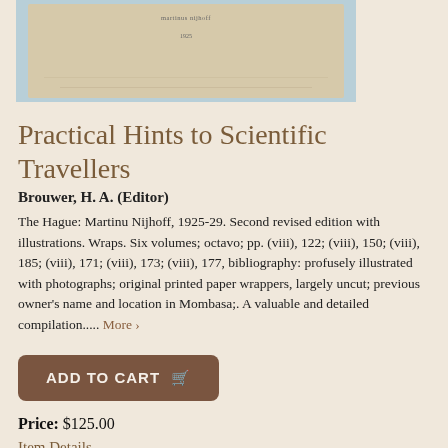[Figure (photo): Photo of an old book cover, cream/beige colored cloth binding, with text 'Martinus Nijhoff 1925' visible at top, on a blue background.]
Practical Hints to Scientific Travellers
Brouwer, H. A. (Editor)
The Hague: Martinu Nijhoff, 1925-29. Second revised edition with illustrations. Wraps. Six volumes; octavo; pp. (viii), 122; (viii), 150; (viii), 185; (viii), 171; (viii), 173; (viii), 177, bibliography: profusely illustrated with photographs; original printed paper wrappers, largely uncut; previous owner's name and location in Mombasa;. A valuable and detailed compilation..... More ›
ADD TO CART
Price: $125.00
Item Details